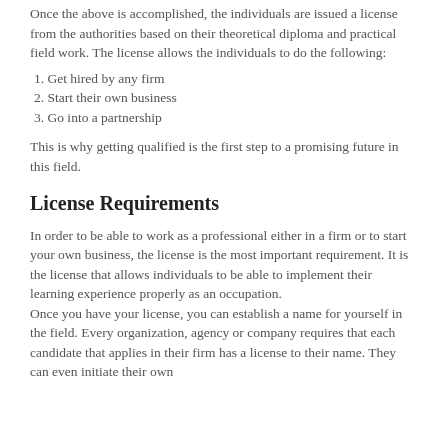Once the above is accomplished, the individuals are issued a license from the authorities based on their theoretical diploma and practical field work. The license allows the individuals to do the following:
1. Get hired by any firm
2. Start their own business
3. Go into a partnership
This is why getting qualified is the first step to a promising future in this field.
License Requirements
In order to be able to work as a professional either in a firm or to start your own business, the license is the most important requirement. It is the license that allows individuals to be able to implement their learning experience properly as an occupation.
Once you have your license, you can establish a name for yourself in the field. Every organization, agency or company requires that each candidate that applies in their firm has a license to their name. They can even initiate their own